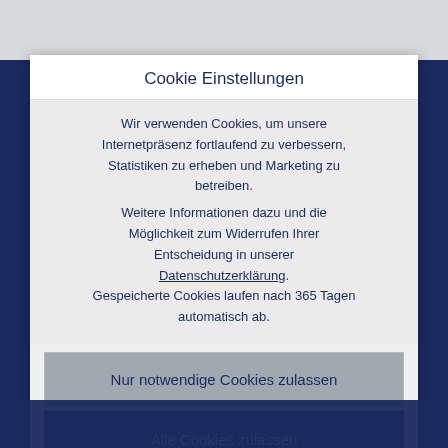Cookie Einstellungen
Wir verwenden Cookies, um unsere Internetpräsenz fortlaufend zu verbessern, Statistiken zu erheben und Marketing zu betreiben.
Weitere Informationen dazu und die Möglichkeit zum Widerrufen Ihrer Entscheidung in unserer Datenschutzerklärung.
Gespeicherte Cookies laufen nach 365 Tagen automatisch ab.
Nur notwendige Cookies zulassen
Alle Cookies zulassen